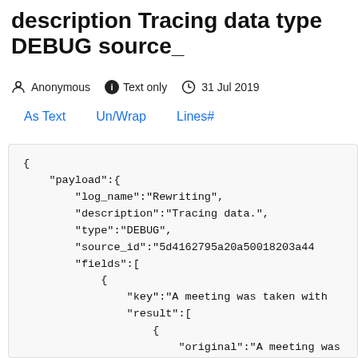description Tracing data type DEBUG source_
Anonymous   Text only   31 Jul 2019
As Text   Un/Wrap   Lines#
{
    "payload":{
        "log_name":"Rewriting",
        "description":"Tracing data.",
        "type":"DEBUG",
        "source_id":"5d4162795a20a50018203a44
        "fields":[
            {
                "key":"A meeting was taken with
                "result":[
                    {
                        "original":"A meeting was